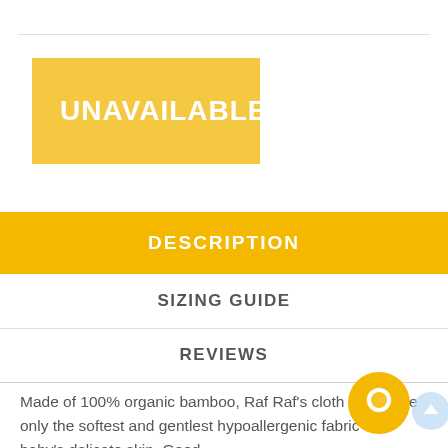[Figure (other): UNAVAILABLE button — yellow/gold rectangle with white uppercase text]
DESCRIPTION
SIZING GUIDE
REVIEWS
Made of 100% organic bamboo, Raf Raf's cloth wipes use only the softest and gentlest hypoallergenic fabric for baby's delicate skin. Good